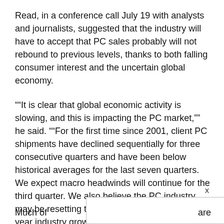Read, in a conference call July 19 with analysts and journalists, suggested that the industry will have to accept that PC sales probably will not rebound to previous levels, thanks to both falling consumer interest and the uncertain global economy.
“It is clear that global economic activity is slowing, and this is impacting the PC market,” he said. “For the first time since 2001, client PC shipments have declined sequentially for three consecutive quarters and have been below historical averages for the last seven quarters. We expect macro headwinds will continue for the third quarter. We also believe the PC industry may be resetting to a new baseline and that full-year industry growth estimates will be reduced.”
Much of ... are